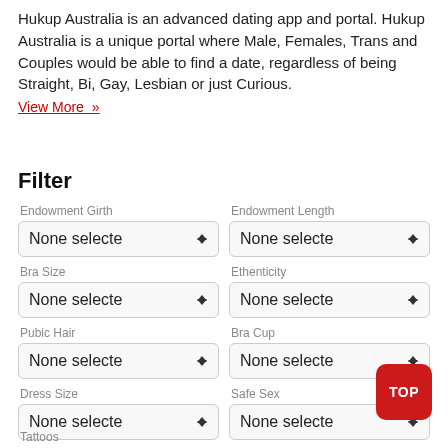Hukup Australia is an advanced dating app and portal. Hukup Australia is a unique portal where Male, Females, Trans and Couples would be able to find a date, regardless of being Straight, Bi, Gay, Lesbian or just Curious.
View More »
Filter
Endowment Girth
None selecte
Endowment Length
None selecte
Bra Size
None selecte
Ethenticity
None selecte
Pubic Hair
None selecte
Bra Cup
None selecte
Dress Size
None selecte
Safe Sex
None selecte
Tattoos